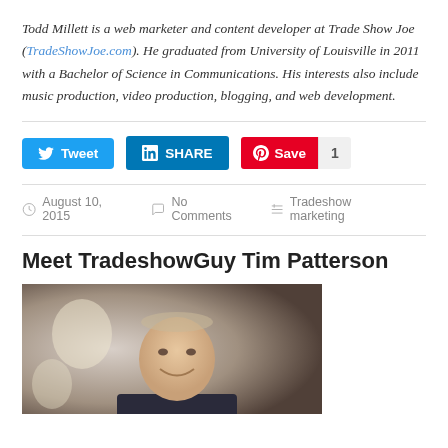Todd Millett is a web marketer and content developer at Trade Show Joe (TradeShowJoe.com). He graduated from University of Louisville in 2011 with a Bachelor of Science in Communications. His interests also include music production, video production, blogging, and web development.
[Figure (screenshot): Social sharing buttons: Tweet (Twitter/blue), SHARE (LinkedIn/blue), Save with count 1 (Pinterest/red)]
August 10, 2015   No Comments   Tradeshow marketing
Meet TradeshowGuy Tim Patterson
[Figure (photo): Portrait photo of Tim Patterson, a middle-aged man smiling, wearing a suit, photographed indoors]